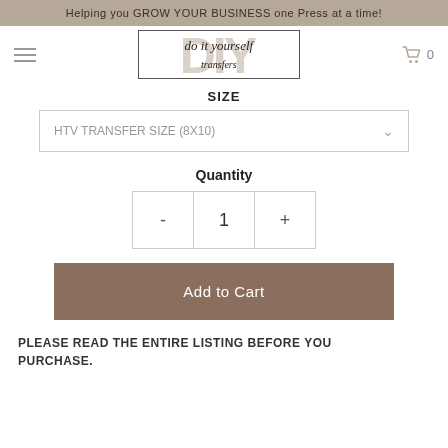Helping you GROW YOUR BUSINESS one Press at a time!
[Figure (logo): Do It Yourself Transfers logo with DIY watermark text behind cursive script]
SIZE
HTV TRANSFER SIZE (8X10)
Quantity
- 1 +
Add to Cart
PLEASE READ THE ENTIRE LISTING BEFORE YOU PURCHASE.